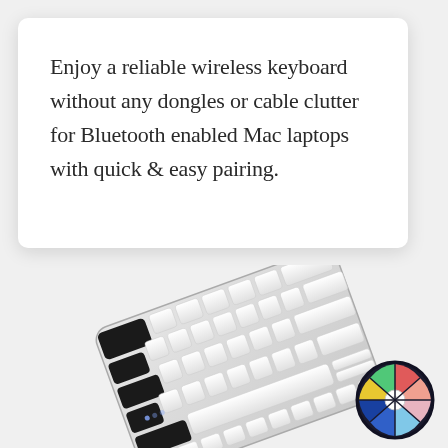Enjoy a reliable wireless keyboard without any dongles or cable clutter for Bluetooth enabled Mac laptops with quick & easy pairing.
[Figure (photo): A wireless keyboard with white keys and black key sections, shown at an angle, white/silver body, Bluetooth Mac keyboard]
[Figure (illustration): A colorful spinning wheel / prize wheel with segments in red, salmon, pink, light blue, blue, dark blue, yellow, and green, with a white center hub]